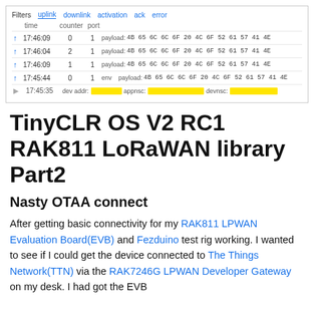[Figure (screenshot): A LoRaWAN network server console screenshot showing a data frame list with columns: time, counter, port, and payload. Rows show uplink frames at times 17:46:09, 17:46:04, 17:46:09, 17:45:44 with payload 4B 65 6C 6C 6F 20 4C 6F 52 61 57 41 4E. The last row at 17:45:35 shows an activation entry with yellow-highlighted dev addr, appnsc, and devnsc fields.]
TinyCLR OS V2 RC1 RAK811 LoRaWAN library Part2
Nasty OTAA connect
After getting basic connectivity for my RAK811 LPWAN Evaluation Board(EVB) and Fezduino test rig working. I wanted to see if I could get the device connected to The Things Network(TTN) via the RAK7246G LPWAN Developer Gateway on my desk. I had got the EVB